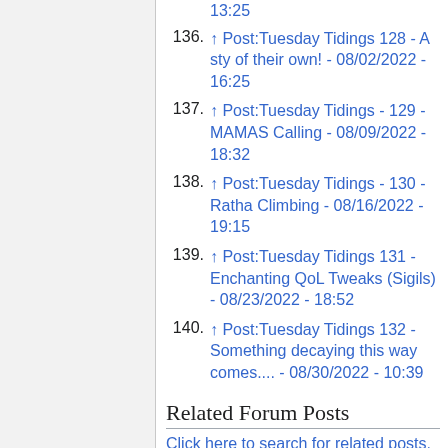136. ↑ Post:Tuesday Tidings 128 - A sty of their own! - 08/02/2022 - 16:25
137. ↑ Post:Tuesday Tidings - 129 - MAMAS Calling - 08/09/2022 - 18:32
138. ↑ Post:Tuesday Tidings - 130 - Ratha Climbing - 08/16/2022 - 19:15
139. ↑ Post:Tuesday Tidings 131 - Enchanting QoL Tweaks (Sigils) - 08/23/2022 - 18:52
140. ↑ Post:Tuesday Tidings 132 - Something decaying this way comes.... - 08/30/2022 - 10:39
Related Forum Posts
Click here to search for related posts.